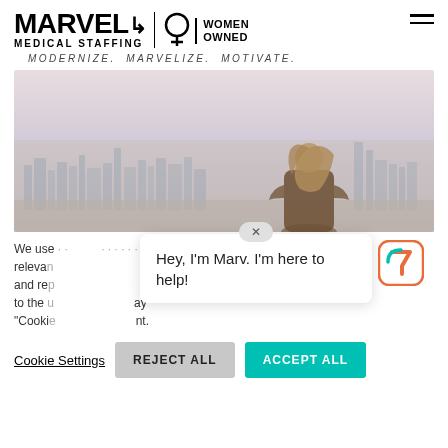[Figure (logo): Marvel Medical Staffing logo with Women Owned badge and hamburger menu]
MODERNIZE. MARVELIZE. MOTIVATE.
[Figure (photo): Woman standing with back to viewer looking at city skyline at dusk]
We use … most relevant … feren and rep … ou to the … ay "Cookie … ent.
[Figure (screenshot): Chat popup with close X button saying Hey, I'm Marv. I'm here to help! with chatbot icon]
Hey, I'm Marv. I'm here to help!
Cookie Settings
REJECT ALL
ACCEPT ALL